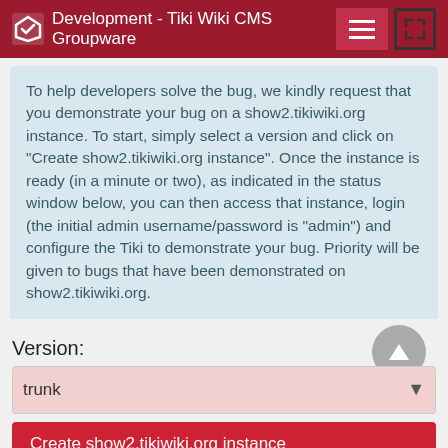Development - Tiki Wiki CMS Groupware
To help developers solve the bug, we kindly request that you demonstrate your bug on a show2.tikiwiki.org instance. To start, simply select a version and click on "Create show2.tikiwiki.org instance". Once the instance is ready (in a minute or two), as indicated in the status window below, you can then access that instance, login (the initial admin username/password is "admin") and configure the Tiki to demonstrate your bug. Priority will be given to bugs that have been demonstrated on show2.tikiwiki.org.
Version:
trunk
Create show2.tikiwiki.org instance